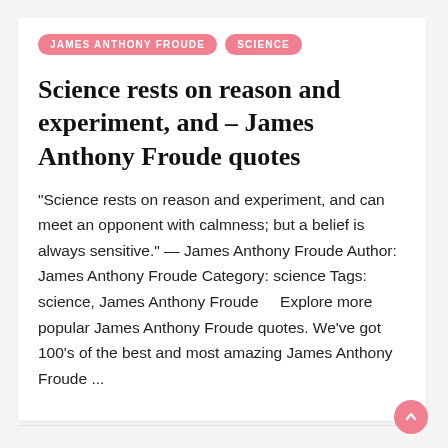JAMES ANTHONY FROUDE   SCIENCE
Science rests on reason and experiment, and – James Anthony Froude quotes
"Science rests on reason and experiment, and can meet an opponent with calmness; but a belief is always sensitive." — James Anthony Froude Author: James Anthony Froude Category: science Tags: science, James Anthony Froude     Explore more popular James Anthony Froude quotes. We've got 100's of the best and most amazing James Anthony Froude ...